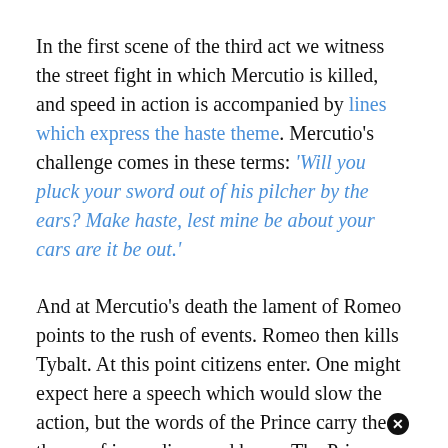In the first scene of the third act we witness the street fight in which Mercutio is killed, and speed in action is accompanied by lines which express the haste theme. Mercutio's challenge comes in these terms: 'Will you pluck your sword out of his pilcher by the ears? Make haste, lest mine be about your cars are it be out.'
And at Mercutio's death the lament of Romeo points to the rush of events. Romeo then kills Tybalt. At this point citizens enter. One might expect here a speech which would slow the action, but the words of the Prince carry the theme of immediacy and hurry. The Prince speaks